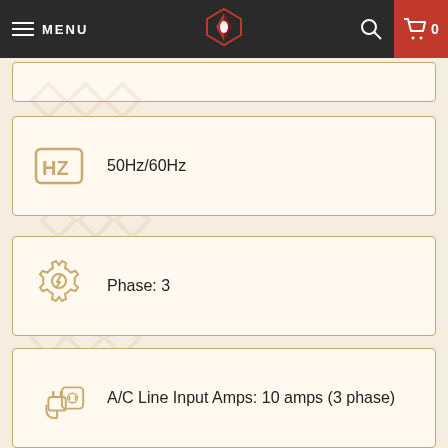MENU   [logo]   [search]   [cart 0]
50Hz/60Hz
Phase: 3
A/C Line Input Amps: 10 amps (3 phase)